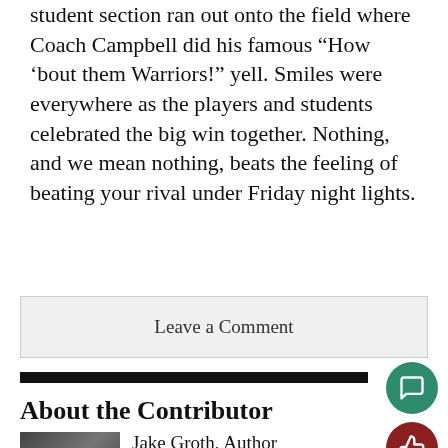student section ran out onto the field where Coach Campbell did his famous “How ‘bout them Warriors!” yell. Smiles were everywhere as the players and students celebrated the big win together. Nothing, and we mean nothing, beats the feeling of beating your rival under Friday night lights.
Leave a Comment
About the Contributor
Jake Groth, Author